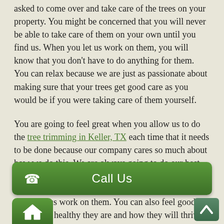asked to come over and take care of the trees on your property. You might be concerned that you will never be able to take care of them on your own until you find us. When you let us work on them, you will know that you don't have to do anything for them. You can relax because we are just as passionate about making sure that your trees get good care as you would be if you were taking care of them yourself.
You are going to feel great when you allow us to do the tree trimming in Keller, TX each time that it needs to be done because our company cares so much about how we do this. We are always going to do our best work for you, and you can feel good about that. You can be happy with your trees and how they look when you have us work on them. You can also feel good about how healthy they are and how they will thrive because of the good way that we get them trimmed. We know what we are doing with trees.